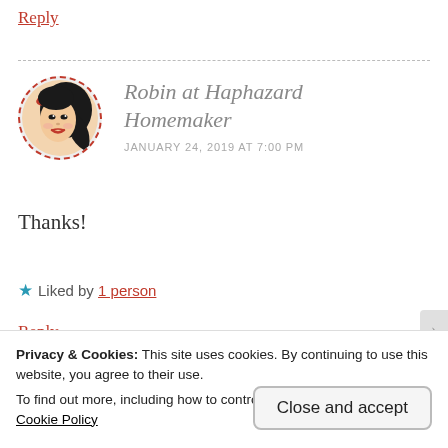Reply
[Figure (illustration): Round avatar illustration of a woman with black hair and red hair accessory, inside a dashed red circle border]
Robin at Haphazard Homemaker
JANUARY 24, 2019 AT 7:00 PM
Thanks!
★ Liked by 1 person
Reply
Privacy & Cookies: This site uses cookies. By continuing to use this website, you agree to their use.
To find out more, including how to control cookies, see here:
Cookie Policy
Close and accept